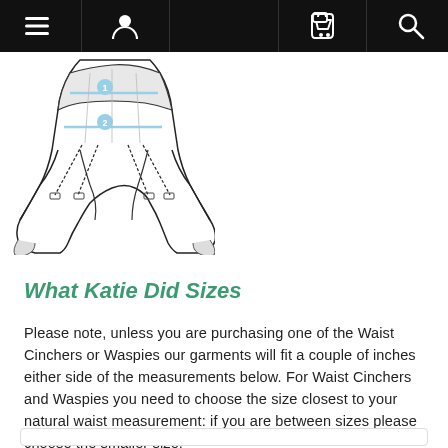Navigation bar with menu, profile, cart, and search icons
[Figure (illustration): Line drawing illustration of a person's lower torso wearing a girdle/corset with measurement guides labeled 1 and 2 shown as horizontal lines]
What Katie Did Sizes
Please note, unless you are purchasing one of the Waist Cinchers or Waspies our garments will fit a couple of inches either side of the measurements below. For Waist Cinchers and Waspies you need to choose the size closest to your natural waist measurement: if you are between sizes please choose the smaller size.